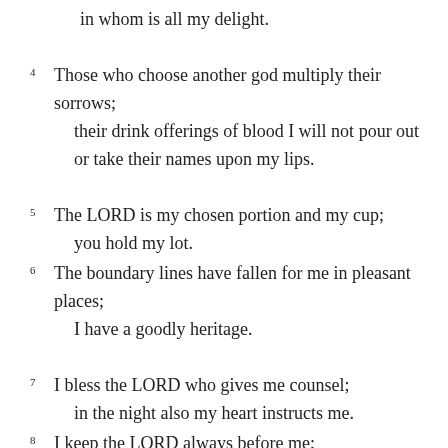in whom is all my delight.
4 Those who choose another god multiply their sorrows;
    their drink offerings of blood I will not pour out
    or take their names upon my lips.
5 The LORD is my chosen portion and my cup;
    you hold my lot.
6 The boundary lines have fallen for me in pleasant places;
    I have a goodly heritage.
7 I bless the LORD who gives me counsel;
    in the night also my heart instructs me.
8 I keep the LORD always before me;
    because he is at my right hand, I shall not be moved.